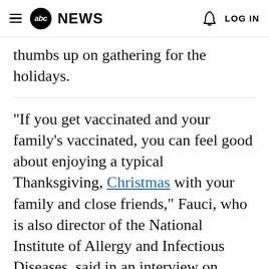≡ abc NEWS  🔔  LOG IN
thumbs up on gathering for the holidays.
"If you get vaccinated and your family's vaccinated, you can feel good about enjoying a typical Thanksgiving, Christmas with your family and close friends," Fauci, who is also director of the National Institute of Allergy and Infectious Diseases, said in an interview on Monday hosted by the Bipartisan Policy Center.
MORE: COVID-19 live updates: Israel to begin vaccinating younger children →